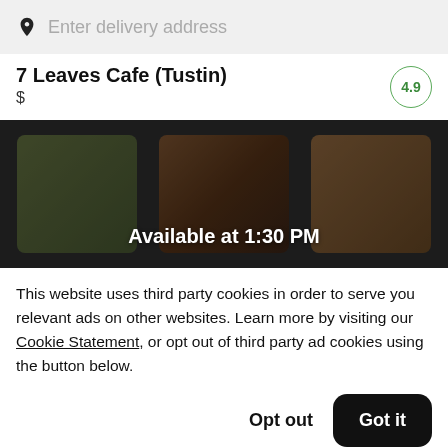Enter delivery address
7 Leaves Cafe (Tustin)  4.9
$
[Figure (photo): Food banner image showing multiple dishes in a dark background with text overlay 'Available at 1:30 PM']
This website uses third party cookies in order to serve you relevant ads on other websites. Learn more by visiting our Cookie Statement, or opt out of third party ad cookies using the button below.
Opt out   Got it